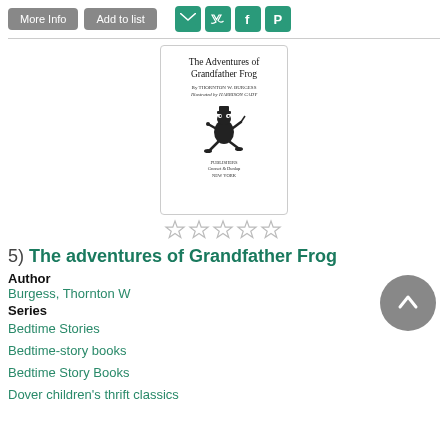[Figure (screenshot): Top bar with More Info and Add to list buttons, and social sharing icons for email, Twitter, Facebook, Pinterest]
[Figure (illustration): Book cover of 'The Adventures of Grandfather Frog' by Thornton W. Burgess, illustrated by Harrison Cady, published by Grosset & Dunlap, New York. Shows a frog character illustration.]
[Figure (other): Five empty star rating icons]
5)  The adventures of Grandfather Frog
Author
Burgess, Thornton W
Series
Bedtime Stories
Bedtime-story books
Bedtime Story Books
Dover children's thrift classics